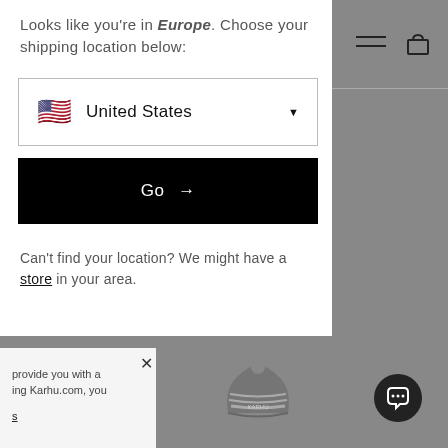Looks like you're in Europe. Choose your shipping location below:
[Figure (screenshot): Dropdown selector showing United States with flag emoji and dropdown arrow]
[Figure (screenshot): Black button with white text 'Go →']
Can't find your location? We might have a store in your area.
[Figure (screenshot): Hamburger menu icon and cart icon in right sidebar]
provide you with a ing Karhu.com, you s
[Figure (photo): Gray knit beanie hat with Karhu logo]
[Figure (screenshot): Dark circular chat support button icon]